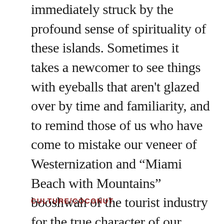immediately struck by the profound sense of spirituality of these islands. Sometimes it takes a newcomer to see things with eyeballs that aren't glazed over by time and familiarity, and to remind those of us who have come to mistake our veneer of Westernization and “Miami Beach with Mountains” booshwah of the tourist industry for the true character of our Island soul.
CULTURE/COCONUT